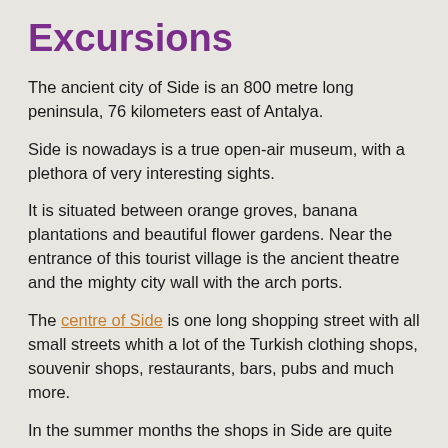Excursions
The ancient city of Side is an 800 metre long peninsula, 76 kilometers east of Antalya.
Side is nowadays is a true open-air museum, with a plethora of very interesting sights.
It is situated between orange groves, banana plantations and beautiful flower gardens. Near the entrance of this tourist village is the ancient theatre and the mighty city wall with the arch ports.
The centre of Side is one long shopping street with all small streets whith a lot of the Turkish clothing shops, souvenir shops, restaurants, bars, pubs and much more.
In the summer months the shops in Side are quite long opened. The sellers starts in the morning around 08: 30 hours and teh shops will be closed around 23:30 –